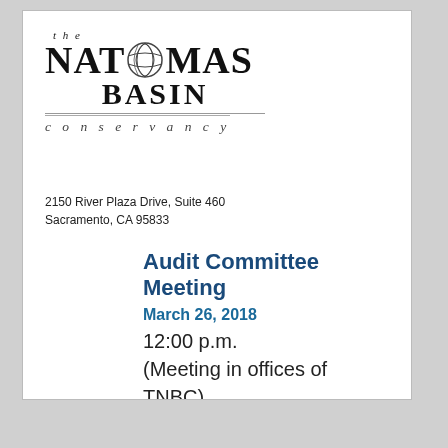[Figure (logo): The Natomas Basin Conservancy logo with stylized globe icon, large serif text NATOMAS BASIN, italic 'the' above, and italic 'conservancy' below with horizontal rule]
2150 River Plaza Drive, Suite 460
Sacramento, CA 95833
Audit Committee Meeting
March 26, 2018
12:00 p.m.
(Meeting in offices of TNBC)